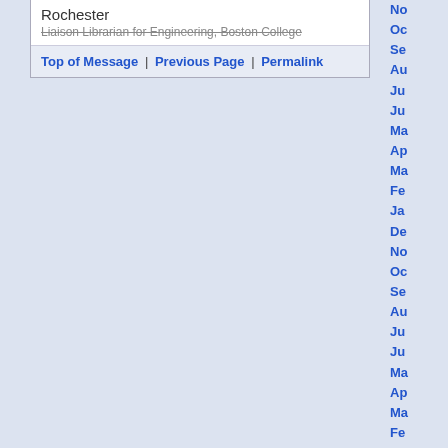Rochester
Liaison Librarian for Engineering, Boston College
Top of Message | Previous Page | Permalink
No
Oc
Se
Au
Ju
Ju
Ma
Ap
Ma
Fe
Ja
De
No
Oc
Se
Au
Ju
Ju
Ma
Ap
Ma
Fe
Ja
De
No
Oc
Se
Au
Ju
Ju
Ma
Ar